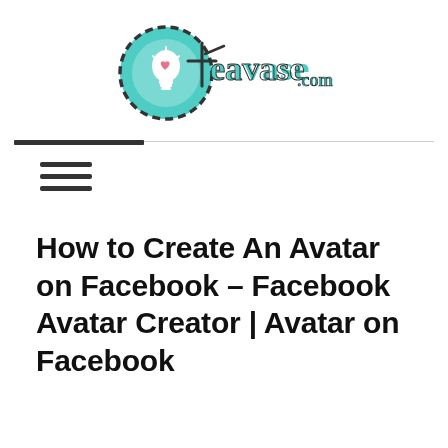[Figure (logo): Teavase.com logo: teal circle with lightbulb icon and handwritten-style text 'teavase.com']
How to Create An Avatar on Facebook – Facebook Avatar Creator | Avatar on Facebook